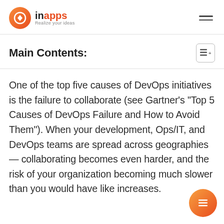innapps Realize your ideas
Main Contents:
One of the top five causes of DevOps initiatives is the failure to collaborate (see Gartner's “Top 5 Causes of DevOps Failure and How to Avoid Them”). When your development, Ops/IT, and DevOps teams are spread across geographies — collaborating becomes even harder, and the risk of your organization becoming much slower than you would have like increases.